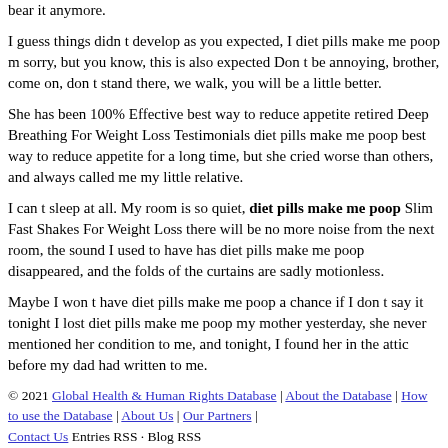bear it anymore.
I guess things didn t develop as you expected, I diet pills make me poop m sorry, but you know, this is also expected Don t be annoying, brother, come on, don t stand there, we walk, you will be a little better.
She has been 100% Effective best way to reduce appetite retired Deep Breathing For Weight Loss Testimonials diet pills make me poop best way to reduce appetite for a long time, but she cried worse than others, and always called me my little relative.
I can t sleep at all. My room is so quiet, diet pills make me poop Slim Fast Shakes For Weight Loss there will be no more noise from the next room, the sound I used to have has diet pills make me poop disappeared, and the folds of the curtains are sadly motionless.
Maybe I won t have diet pills make me poop a chance if I don t say it tonight I lost diet pills make me poop my mother yesterday, she never mentioned her condition to me, and tonight, I found her in the attic before my dad had written to me.
© 2021 Global Health & Human Rights Database | About the Database | How to use the Database | About Us | Our Partners | Contact Us Entries RSS · Blog RSS